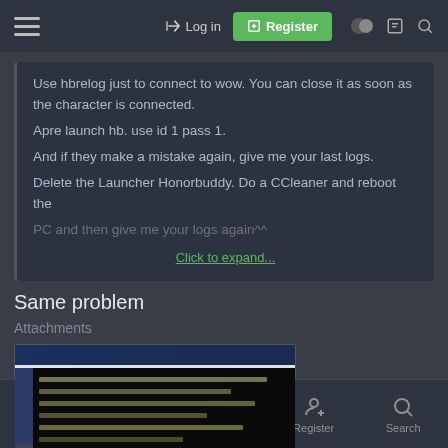Log in  Register
Use hbrelog just to connect to wow. You can close it as soon as the character is connected.
Apre launch hb. use id 1 pass 1.
And if they make a mistake again, give me your last logs.
Delete the Launcher Honorbuddy. Do a CCleaner and reboot the PC and then give me your logs again^^
Click to expand...
Same problem
Attachments
[Figure (screenshot): A blurry screenshot of a dark terminal/log window with text lines visible]
Forums  What's New  Log In  Register  Search